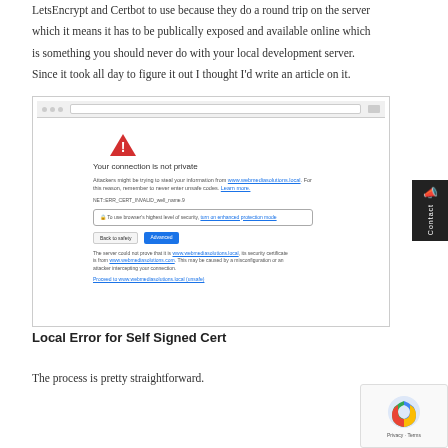LetsEncrypt and Certbot to use because they do a round trip on the server which it means it has to be publically exposed and available online which is something you should never do with your local development server. Since it took all day to figure it out I thought I'd write an article on it.
[Figure (screenshot): Browser screenshot showing Chrome's 'Your connection is not private' error page with a red warning triangle, error message, and buttons for 'Back to safety' and 'Advanced'.]
Local Error for Self Signed Cert
The process is pretty straightforward.